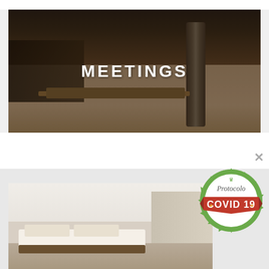[Figure (photo): Interior photo of a modern meeting/event room with large windows, wooden bar-height tables and chairs, a cylindrical column, and warm lighting. Text overlay reads MEETINGS.]
[Figure (photo): Hotel bedroom photo showing a large white bed with brown accent pillows and runner, white walls, and a glass partition to a bathroom area.]
[Figure (illustration): Circular badge/stamp graphic with green gear-like border reading 'Protocolo' at top and a red banner overlay reading 'COVID 19' with decorative stars.]